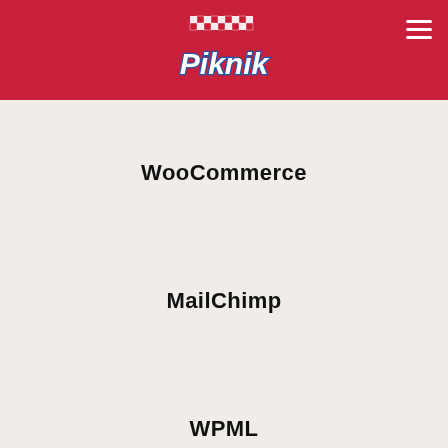[Figure (logo): Piknik brand logo — white checkered tablecloth pattern above stylized 'Piknik' text in white with blue outline, on a red background header]
WooCommerce
MailChimp
WPML